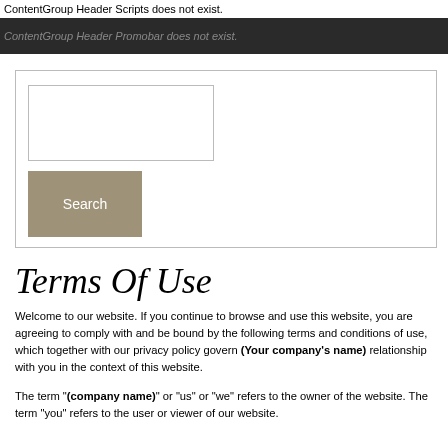ContentGroup Header Scripts does not exist.
ContentGroup Header Promobar does not exist.
Terms Of Use
Welcome to our website. If you continue to browse and use this website, you are agreeing to comply with and be bound by the following terms and conditions of use, which together with our privacy policy govern (Your company's name) relationship with you in the context of this website.
The term "(company name)" or "us" or "we" refers to the owner of the website. The term "you" refers to the user or viewer of our website.
The use of this website is subject to the following terms of use: